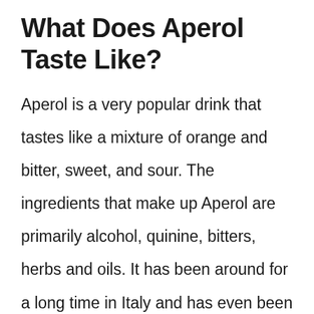What Does Aperol Taste Like?
Aperol is a very popular drink that tastes like a mixture of orange and bitter, sweet, and sour. The ingredients that make up Aperol are primarily alcohol, quinine, bitters, herbs and oils. It has been around for a long time in Italy and has even been used as a medicinal agent in the wards of European hospitals for centuries. Aperol tastes like oranges and